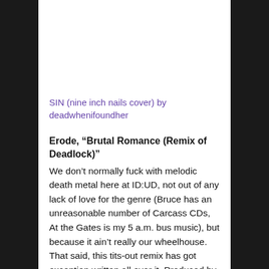SIN (nine inch nails cover) by deadwhenifoundher
Erode, “Brutal Romance (Remix of Deadlock)”
We don’t normally fuck with melodic death metal here at ID:UD, not out of any lack of love for the genre (Bruce has an unreasonable number of Carcass CDs, At the Gates is my 5 a.m. bus music), but because it ain’t really our wheelhouse. That said, this tits-out remix has got exception written all over it. Produced by Alexander Dietsch of german metallists Heaven Shall Burn in his technoid guise as Erode, it appears at the tail end of his rad new album Horizon out just t’other day on Tympanik. Expect a full review of that one from us shortly, but in the meantime you can enjoy the lush pads,